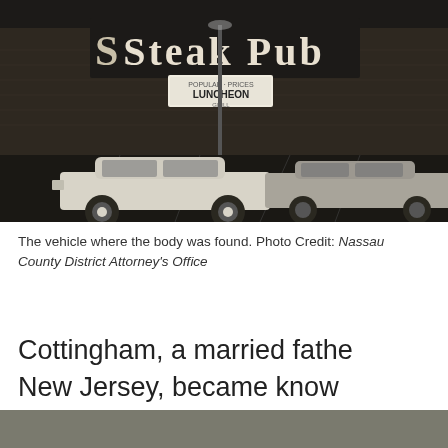[Figure (photo): Black and white photograph of a Steak Pub restaurant exterior at night, with a sign reading 'Steak Pub' and 'Popular Prices LUNCHEON' visible. Two vintage cars are parked in the lot in front of the building.]
The vehicle where the body was found. Photo Credit: Nassau County District Attorney's Office
Cottingham, a married father... New Jersey, became known... after dismembering some o...
[Figure (screenshot): Video overlay showing a man in a suit with a red tie being interviewed, with chyron reading 'Rep. David Cicilline, D-RHODE ISLAND' and lower third 'REP. CICILLINE: META DOES ANTICOMPETITIVE BEHAVIOR THEN GOES ON "APOLOGY TOUR"'. Location tag reads 'Providence, R.I.']